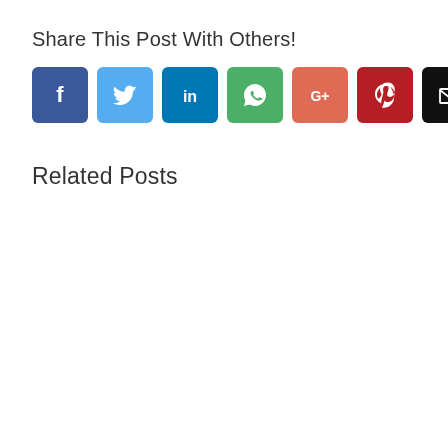Share This Post With Others!
[Figure (infographic): Seven social share buttons: Facebook (blue), Twitter (light blue), LinkedIn (dark blue), WhatsApp (green), Google+ (coral/red), Pinterest (dark red), Email (black)]
Related Posts